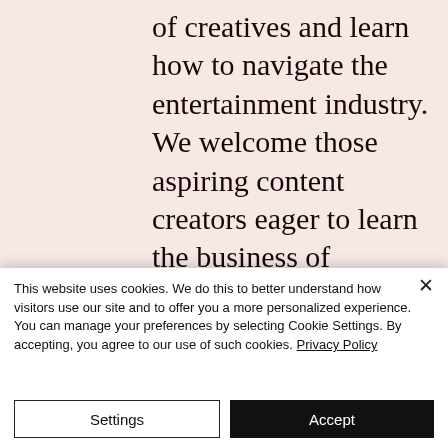of creatives and learn how to navigate the entertainment industry. We welcome those aspiring content creators eager to learn the business of producing.
[Figure (photo): Partial photo strip showing people, partially obscured by cookie banner overlay]
This website uses cookies. We do this to better understand how visitors use our site and to offer you a more personalized experience. You can manage your preferences by selecting Cookie Settings. By accepting, you agree to our use of such cookies. Privacy Policy